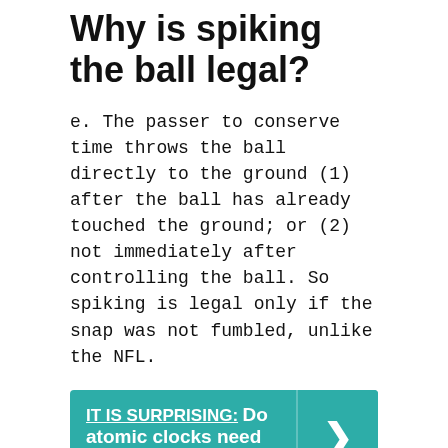Why is spiking the ball legal?
e. The passer to conserve time throws the ball directly to the ground (1) after the ball has already touched the ground; or (2) not immediately after controlling the ball. So spiking is legal only if the snap was not fumbled, unlike the NFL.
[Figure (infographic): Teal callout box with underlined bold label 'IT IS SURPRISING:' followed by bold text 'Do atomic clocks need batteries?' with a right-pointing chevron arrow on the right side.]
When did the intentional grounding rule change?
2016 rule book clarifies intentional